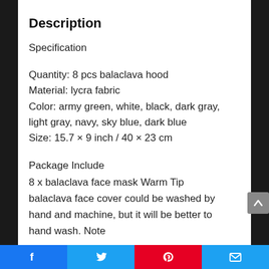Description
Specification
Quantity: 8 pcs balaclava hood
Material: lycra fabric
Color: army green, white, black, dark gray, light gray, navy, sky blue, dark blue
Size: 15.7 × 9 inch / 40 × 23 cm
Package Include
8 x balaclava face mask Warm Tip balaclava face cover could be washed by hand and machine, but it will be better to hand wash. Note